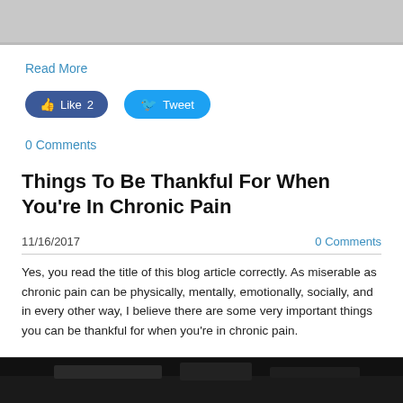[Figure (photo): Partial photo of a person lying down, cropped at top of page]
Read More
[Figure (other): Facebook Like button showing count 2 and Twitter Tweet button]
0 Comments
Things To Be Thankful For When You're In Chronic Pain
11/16/2017
0 Comments
Yes, you read the title of this blog article correctly. As miserable as chronic pain can be physically, mentally, emotionally, socially, and in every other way, I believe there are some very important things you can be thankful for when you're in chronic pain.
[Figure (photo): Dark landscape photo, partially visible at bottom of page]